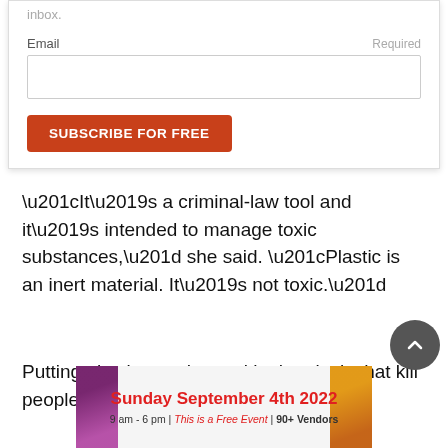inbox.
Email
Required
SUBSCRIBE FOR FREE
“It’s a criminal-law tool and it’s intended to manage toxic substances,” she said. “Plastic is an inert material. It’s not toxic.”
Putting plastics up there with chemicals that kill people is
[Figure (screenshot): Advertisement banner: Sunday September 4th 2022, 9 am - 6 pm | This is a Free Event | 90+ Vendors, with vegetable and food imagery on sides]